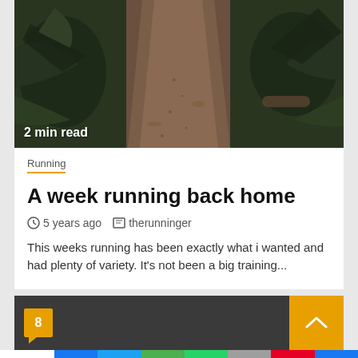[Figure (photo): A dirt trail path with vegetation on both sides, viewed from above looking down the path. Brown earthy tones with green foliage on either side.]
2 min read
Running
A week running back home
5 years ago   therunninger
This weeks running has been exactly what i wanted and had plenty of variety. It's not been a big training...
8
Shares